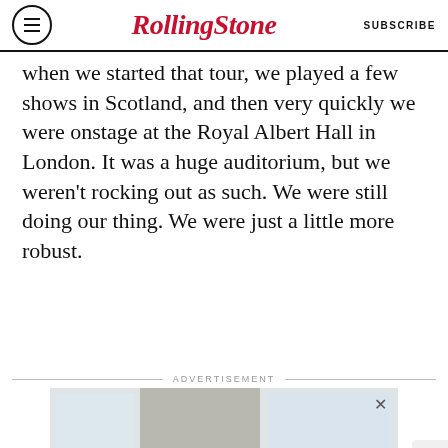Rolling Stone | SUBSCRIBE
when we started that tour, we played a few shows in Scotland, and then very quickly we were onstage at the Royal Albert Hall in London. It was a huge auditorium, but we weren't rocking out as such. We were still doing our thing. We were just a little more robust.
ADVERTISEMENT
[Figure (photo): Advertisement photo showing a person lying on a bed/mattress in a bright room with plants, with text 'MEET AIRWEAVE MODULAR, WASHABLE MATTRESS' and SPY logo]